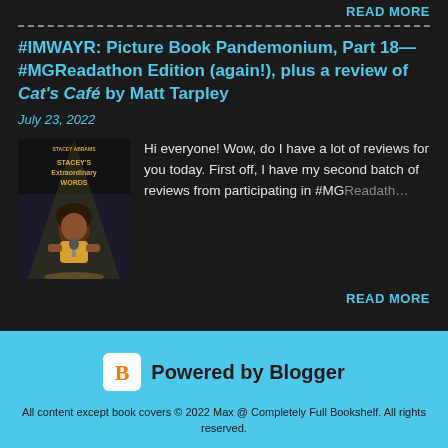READ MORE
#IMWAYR: Picture Book Pandemonium, Part 18—#MGReadathon Edition (again!), plus a review of Cat's Café by Matt Tarpley
July 23, 2022
[Figure (photo): Book cover of Stacey's Extraordinary Words by Stacey Abrams]
Hi everyone! Wow, do I have a lot of reviews for you today. First off, I have my second batch of reviews from participating in #MGReadath…
READ MORE
Powered by Blogger
All content except book covers © 2022 Max @ Completely Full Bookshelf. All rights reserved.